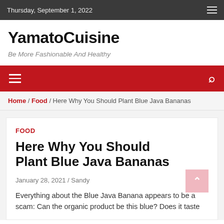Thursday, September 1, 2022
YamatoCuisine
Be More Fashionable And Healthy
Home / Food / Here Why You Should Plant Blue Java Bananas
FOOD
Here Why You Should Plant Blue Java Bananas
January 28, 2021 / Sandy
Everything about the Blue Java Banana appears to be a scam: Can the organic product be this blue? Does it taste